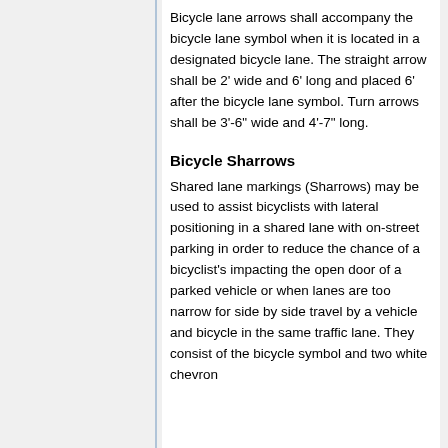Bicycle lane arrows shall accompany the bicycle lane symbol when it is located in a designated bicycle lane. The straight arrow shall be 2' wide and 6' long and placed 6' after the bicycle lane symbol. Turn arrows shall be 3'-6" wide and 4'-7" long.
Bicycle Sharrows
Shared lane markings (Sharrows) may be used to assist bicyclists with lateral positioning in a shared lane with on-street parking in order to reduce the chance of a bicyclist's impacting the open door of a parked vehicle or when lanes are too narrow for side by side travel by a vehicle and bicycle in the same traffic lane. They consist of the bicycle symbol and two white chevron